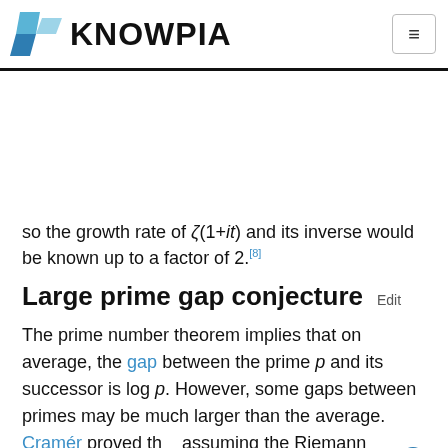KNOWPIA
so the growth rate of ζ(1+it) and its inverse would be known up to a factor of 2.[8]
Large prime gap conjecture  Edit
The prime number theorem implies that on average, the gap between the prime p and its successor is log p. However, some gaps between primes may be much larger than the average. Cramér proved that assuming the Riemann hypothesis, every gap is O(√p log p). This is a case in which even the best